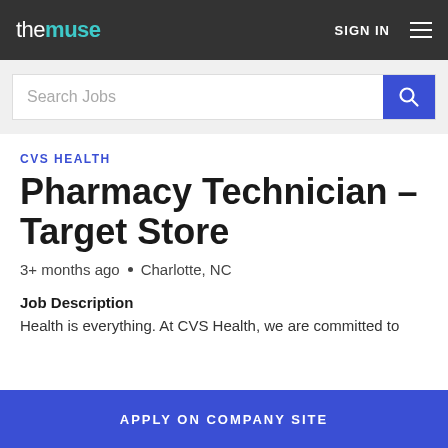the muse | SIGN IN
Search Jobs
CVS HEALTH
Pharmacy Technician - Target Store
3+ months ago  •  Charlotte, NC
Job Description
Health is everything. At CVS Health, we are committed to
APPLY ON COMPANY SITE